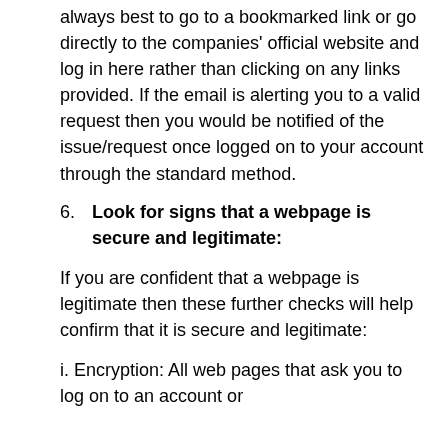always best to go to a bookmarked link or go directly to the companies' official website and log in here rather than clicking on any links provided. If the email is alerting you to a valid request then you would be notified of the issue/request once logged on to your account through the standard method.
6. Look for signs that a webpage is secure and legitimate:
If you are confident that a webpage is legitimate then these further checks will help confirm that it is secure and legitimate:
i. Encryption: All web pages that ask you to log on to an account or